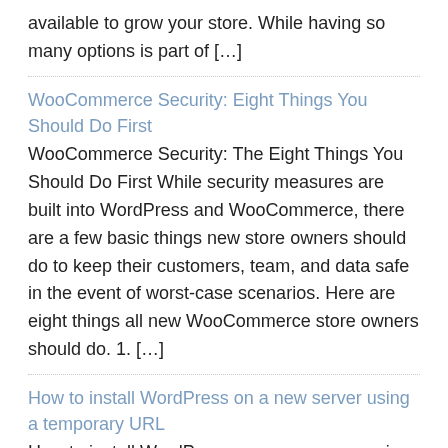available to grow your store. While having so many options is part of […]
WooCommerce Security: Eight Things You Should Do First
WooCommerce Security: The Eight Things You Should Do First While security measures are built into WordPress and WooCommerce, there are a few basic things new store owners should do to keep their customers, team, and data safe in the event of worst-case scenarios. Here are eight things all new WooCommerce store owners should do. 1. […]
How to install WordPress on a new server using a temporary URL
How to install WordPress on a new server using a temporary URL WordPress is dynamically driven Content Management System which is using the fully propagated domain name as a reference. This means that it will not work correctly on a new server with the domain name not propagated and using your